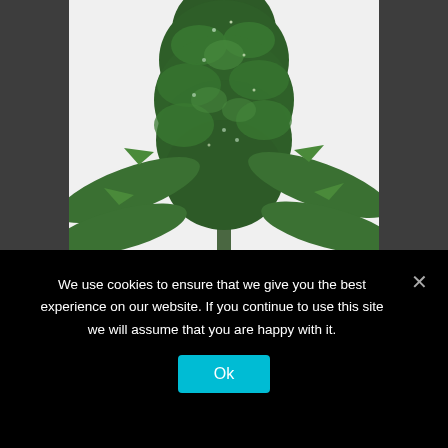[Figure (photo): Close-up photo of a cannabis plant with dense green buds and serrated leaves against a white background]
420 CARAT FEMINIZED
Click For Price
We use cookies to ensure that we give you the best experience on our website. If you continue to use this site we will assume that you are happy with it.
Ok